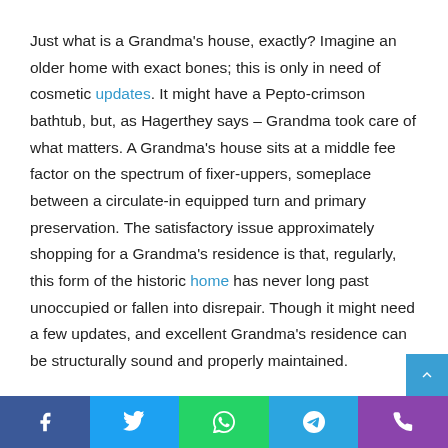Just what is a Grandma's house, exactly? Imagine an older home with exact bones; this is only in need of cosmetic updates. It might have a Pepto-crimson bathtub, but, as Hagerthey says – Grandma took care of what matters. A Grandma's house sits at a middle fee factor on the spectrum of fixer-uppers, someplace between a circulate-in equipped turn and primary preservation. The satisfactory issue approximately shopping for a Grandma's residence is that, regularly, this form of the historic home has never long past unoccupied or fallen into disrepair. Though it might need a few updates, and excellent Grandma's residence can be structurally sound and properly maintained.

Insure real property markets, says Hagerthey, there may
Facebook Twitter WhatsApp Telegram Phone